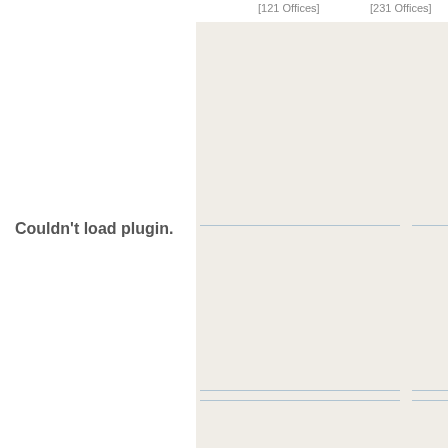[121 Offices]
[231 Offices]
Couldn't load plugin.
Restaurants & Bars
Greek Taverns - Bars - Cafe
Next to your holiday resort